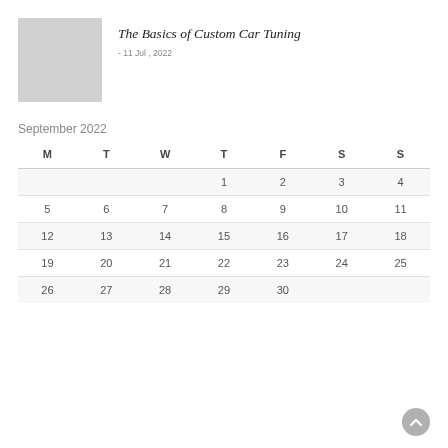[Figure (photo): Gray placeholder image for blog post thumbnail]
The Basics of Custom Car Tuning
- 11 Jul , 2022
September 2022
| M | T | W | T | F | S | S |
| --- | --- | --- | --- | --- | --- | --- |
|  |  |  | 1 | 2 | 3 | 4 |
| 5 | 6 | 7 | 8 | 9 | 10 | 11 |
| 12 | 13 | 14 | 15 | 16 | 17 | 18 |
| 19 | 20 | 21 | 22 | 23 | 24 | 25 |
| 26 | 27 | 28 | 29 | 30 |  |  |